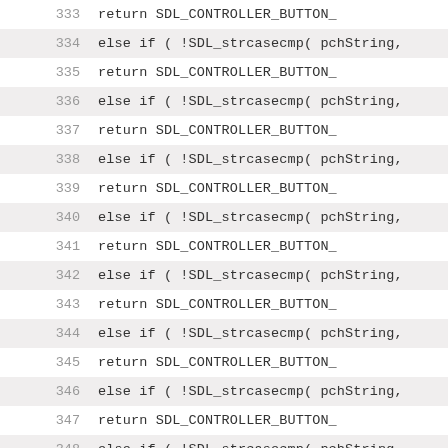Code listing lines 333-355, showing SDL controller button string comparison logic with else if chains using SDL_strcasecmp(pchString, ...) and return SDL_CONTROLLER_BUTTON_... statements.